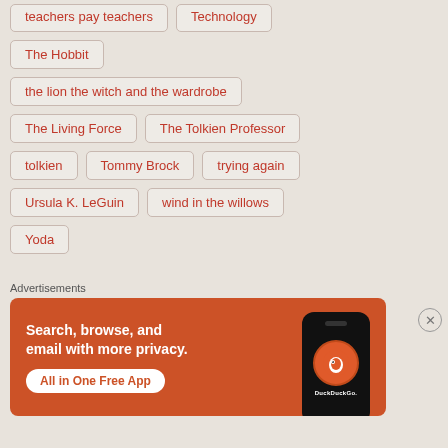teachers pay teachers
Technology
The Hobbit
the lion the witch and the wardrobe
The Living Force
The Tolkien Professor
tolkien
Tommy Brock
trying again
Ursula K. LeGuin
wind in the willows
Yoda
Advertisements
[Figure (photo): DuckDuckGo advertisement banner: Search, browse, and email with more privacy. All in One Free App. Shows a phone with DuckDuckGo logo.]